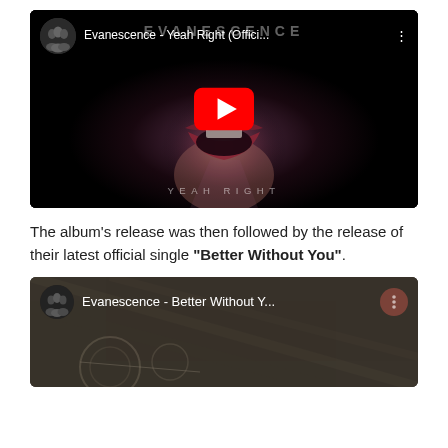[Figure (screenshot): YouTube video thumbnail for Evanescence - Yeah Right (Offici...) showing a close-up of a woman's mouth/lips with the EVANESCENCE logo at top, a red YouTube play button in the center, and 'YEAH RIGHT' text at the bottom]
The album's release was then followed by the release of their latest official single "Better Without You".
[Figure (screenshot): YouTube video thumbnail for Evanescence - Better Without Y... showing a black and white textured background with channel avatar and title bar]